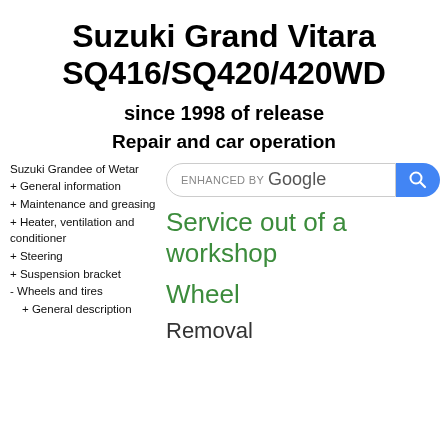Suzuki Grand Vitara SQ416/SQ420/420WD
since 1998 of release
Repair and car operation
Suzuki Grandee of Wetar
+ General information
+ Maintenance and greasing
+ Heater, ventilation and conditioner
+ Steering
+ Suspension bracket
- Wheels and tires
+ General description
[Figure (screenshot): ENHANCED BY Google search bar with blue search button]
Service out of a workshop
Wheel
Removal